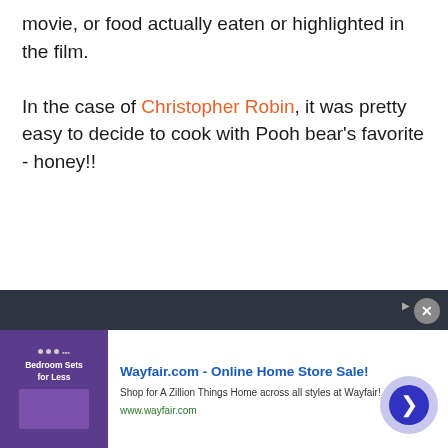movie, or food actually eaten or highlighted in the film.

In the case of Christopher Robin, it was pretty easy to decide to cook with Pooh bear's favorite - honey!!
[Figure (other): Advertisement banner for Wayfair.com - Online Home Store Sale! with image of bedroom furniture, text 'Shop for A Zillion Things Home across all styles at Wayfair!' and url www.wayfair.com, with navigation arrow button]